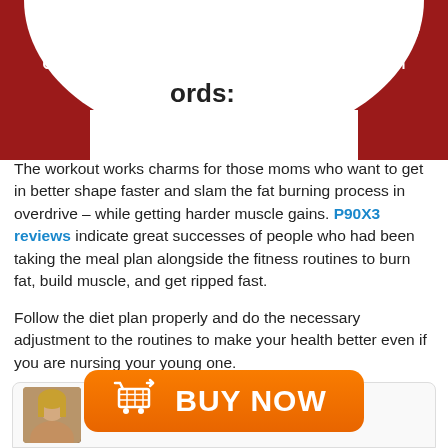Make Chuck My Free Coach
Make Monica my Free Coach
ords:
The workout works charms for those moms who want to get in better shape faster and slam the fat burning process in overdrive – while getting harder muscle gains. P90X3 reviews indicate great successes of people who had been taking the meal plan alongside the fitness routines to burn fat, build muscle, and get ripped fast.
Follow the diet plan properly and do the necessary adjustment to the routines to make your health better even if you are nursing your young one.
[Figure (infographic): Orange 'BUY NOW' button with shopping cart icon]
Monica Gray
Hello! My name is Monica Gray. I have...